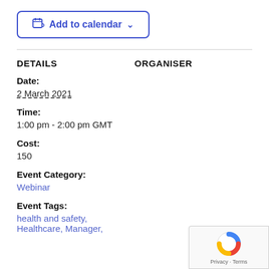[Figure (other): Add to calendar button with calendar icon and chevron dropdown indicator]
DETAILS
ORGANISER
Date:
2 March 2021
Time:
1:00 pm - 2:00 pm GMT
Cost:
150
Event Category:
Webinar
Event Tags:
health and safety, Healthcare, Manager,